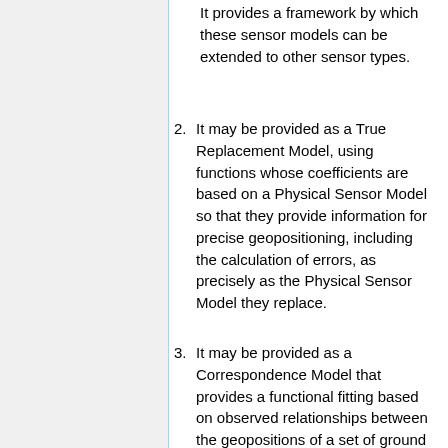It provides a framework by which these sensor models can be extended to other sensor types.
2. It may be provided as a True Replacement Model, using functions whose coefficients are based on a Physical Sensor Model so that they provide information for precise geopositioning, including the calculation of errors, as precisely as the Physical Sensor Model they replace.
3. It may be provided as a Correspondence Model that provides a functional fitting based on observed relationships between the geopositions of a set of ground control points and their image coordinates.